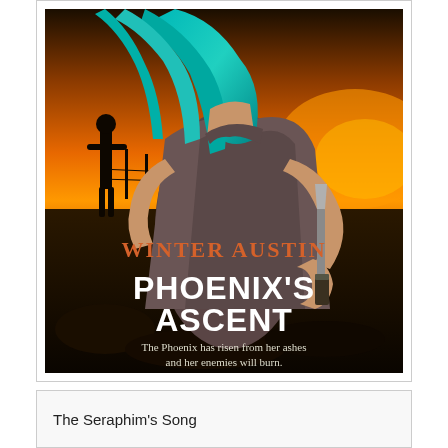[Figure (illustration): Book cover for 'Phoenix's Ascent' by Winter Austin. Shows a woman with teal/turquoise hair wearing a gray tank top and holding a large knife. Background features a dramatic orange sunset sky with a silhouetted figure in the background. The author name 'WINTER AUSTIN' appears in orange text and the title 'PHOENIX'S ASCENT' appears in large white bold distressed font. Tagline reads: 'The Phoenix has risen from her ashes and her enemies will burn.']
The Seraphim's Song
[Figure (illustration): Partial view of another book cover at the bottom of the page, showing a blue/green cosmic or nature background.]